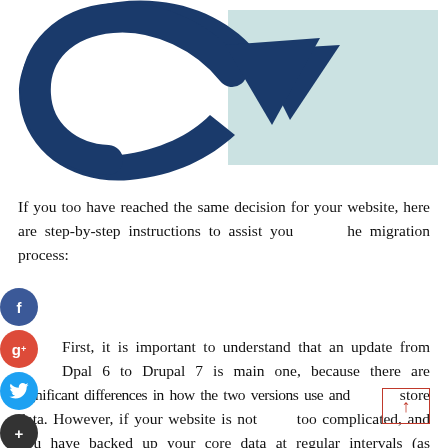[Figure (illustration): A circular refresh/update arrow icon in dark navy blue color, with a light teal rectangular background box on the right side behind the arrowhead portion.]
If you too have reached the same decision for your website, here are step-by-step instructions to assist you the migration process:
First, it is important to understand that an update from Drupal 6 to Drupal 7 is main one, because there are significant differences in how the two versions use and store data. However, if your website is not too complicated, and you have backed up your core data at regular intervals (as recommended by the developer), the process should not be too complicated for you.